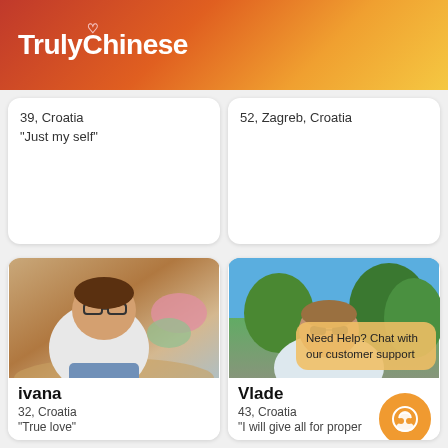TrulyChinese
39, Croatia
"Just my self"
52, Zagreb, Croatia
[Figure (photo): Woman with glasses smiling, taking a selfie indoors, wearing white top and jeans - ivana]
ivana
32, Croatia
"True love"
[Figure (photo): Man in sunglasses taking an outdoor selfie with trees and blue sky - Vlade]
Vlade
43, Croatia
"I will give all for proper
Need Help? Chat with our customer support